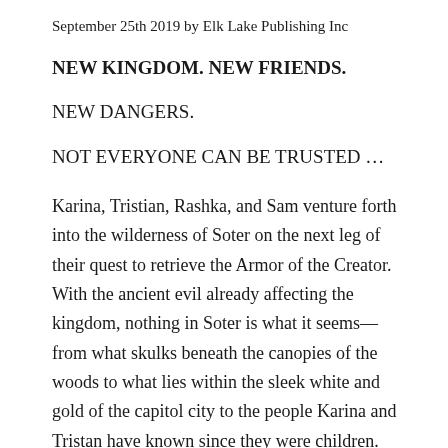September 25th 2019 by Elk Lake Publishing Inc
NEW KINGDOM. NEW FRIENDS.
NEW DANGERS.
NOT EVERYONE CAN BE TRUSTED …
Karina, Tristian, Rashka, and Sam venture forth into the wilderness of Soter on the next leg of their quest to retrieve the Armor of the Creator. With the ancient evil already affecting the kingdom, nothing in Soter is what it seems—from what skulks beneath the canopies of the woods to what lies within the sleek white and gold of the capitol city to the people Karina and Tristan have known since they were children.